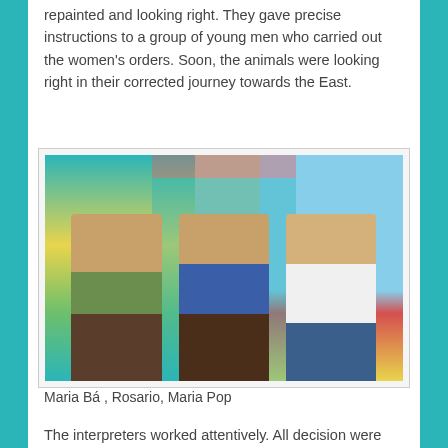repainted and looking right. They gave precise instructions to a group of young men who carried out the women's orders. Soon, the animals were looking right in their corrected journey towards the East.
[Figure (photo): Three women standing in front of colorful painted artwork/murals. The woman on the left wears a green top and patterned skirt. The woman in the middle wears a blue outfit with a shoulder bag. The woman on the right wears a white blouse with floral embroidery.]
Maria Bá , Rosario, Maria Pop
The interpreters worked attentively. All decision were